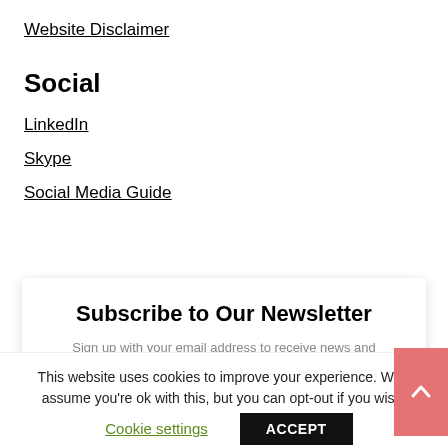Website Disclaimer
Social
LinkedIn
Skype
Social Media Guide
Subscribe to Our Newsletter
Sign up with your email address to receive news and
This website uses cookies to improve your experience. We'll assume you're ok with this, but you can opt-out if you wish.
Cookie settings
ACCEPT